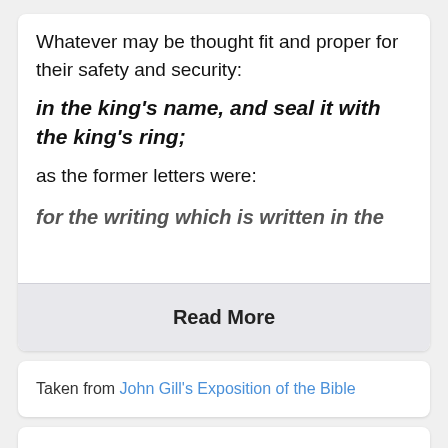Whatever may be thought fit and proper for their safety and security:
in the king's name, and seal it with the king's ring;
as the former letters were:
for the writing which is written in the
Read More
Taken from John Gill's Exposition of the Bible
Esther 8:8 In-Context
6 For how can I endure to see the evil